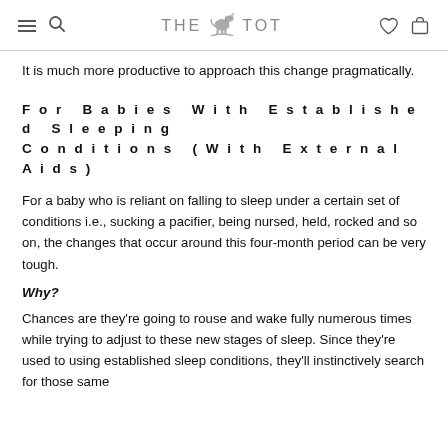THE TOT
It is much more productive to approach this change pragmatically.
For Babies With Established Sleeping Conditions (With External Aids)
For a baby who is reliant on falling to sleep under a certain set of conditions i.e., sucking a pacifier, being nursed, held, rocked and so on, the changes that occur around this four-month period can be very tough.
Why?
Chances are they're going to rouse and wake fully numerous times while trying to adjust to these new stages of sleep. Since they're used to using established sleep conditions, they'll instinctively search for those same